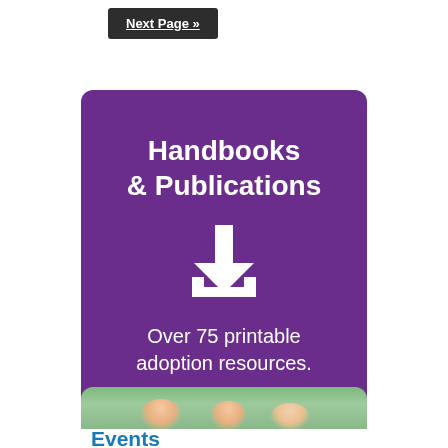Next Page »
[Figure (infographic): Purple rounded rectangle card with white text reading 'Handbooks & Publications', a white download icon (arrow pointing down into a tray), and text 'Over 75 printable adoption resources.']
[Figure (photo): Bottom portion of a card showing a photo of people on grass and the beginning of the word 'Events' in blue text]